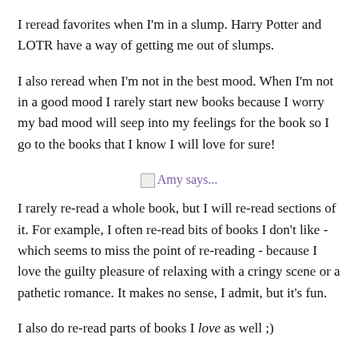I reread favorites when I'm in a slump. Harry Potter and LOTR have a way of getting me out of slumps.
I also reread when I'm not in the best mood. When I'm not in a good mood I rarely start new books because I worry my bad mood will seep into my feelings for the book so I go to the books that I know I will love for sure!
[Figure (other): Broken image icon with label 'Amy says...' in purple text]
I rarely re-read a whole book, but I will re-read sections of it. For example, I often re-read bits of books I don't like - which seems to miss the point of re-reading - because I love the guilty pleasure of relaxing with a cringy scene or a pathetic romance. It makes no sense, I admit, but it's fun.
I also do re-read parts of books I love as well ;)